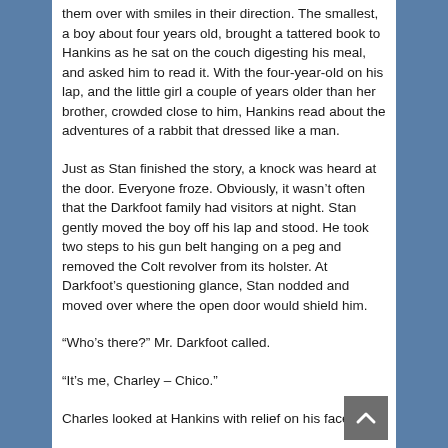them over with smiles in their direction. The smallest, a boy about four years old, brought a tattered book to Hankins as he sat on the couch digesting his meal, and asked him to read it. With the four-year-old on his lap, and the little girl a couple of years older than her brother, crowded close to him, Hankins read about the adventures of a rabbit that dressed like a man.
Just as Stan finished the story, a knock was heard at the door. Everyone froze. Obviously, it wasn't often that the Darkfoot family had visitors at night. Stan gently moved the boy off his lap and stood. He took two steps to his gun belt hanging on a peg and removed the Colt revolver from its holster. At Darkfoot's questioning glance, Stan nodded and moved over where the open door would shield him.
“Who’s there?” Mr. Darkfoot called.
“It’s me, Charley – Chico.”
Charles looked at Hankins with relief on his face. “It’s